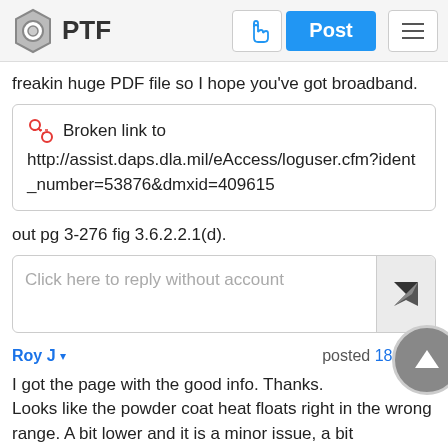PTF | Post
freakin huge PDF file so I hope you've got broadband.
Broken link to http://assist.daps.dla.mil/eAccess/loguser.cfm?ident_number=53876&dmxid=409615
out pg 3-276 fig 3.6.2.2.1(d).
Click here to reply without account
Roy J ▾   posted 18 years
I got the page with the good info. Thanks.
Looks like the powder coat heat floats right in the wrong range. A bit lower and it is a minor issue, a bit